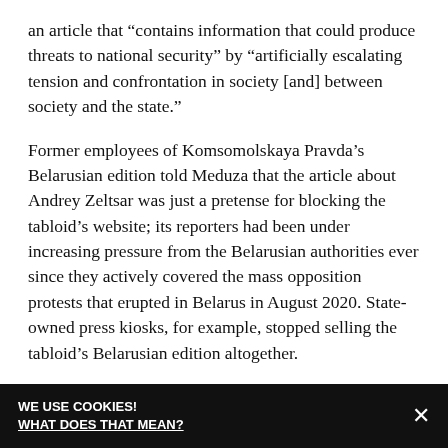an article that “contains information that could produce threats to national security” by “artificially escalating tension and confrontation in society [and] between society and the state.”
Former employees of Komsomolskaya Pravda’s Belarusian edition told Meduza that the article about Andrey Zeltsar was just a pretense for blocking the tabloid’s website; its reporters had been under increasing pressure from the Belarusian authorities ever since they actively covered the mass opposition protests that erupted in Belarus in August 2020. State-owned press kiosks, for example, stopped selling the tabloid’s Belarusian edition altogether.
The independent news site Zerkalo.io underscored that at the time Komsomolskaya Pravda in Belarus was blocked, it was “practically the last non-state socio-
WE USE COOKIES! WHAT DOES THAT MEAN? ×